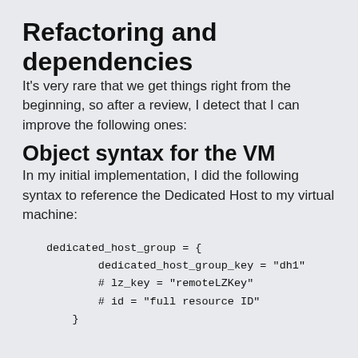Refactoring and dependencies
It's very rare that we get things right from the beginning, so after a review, I detect that I can improve the following ones:
Object syntax for the VM
In my initial implementation, I did the following syntax to reference the Dedicated Host to my virtual machine: